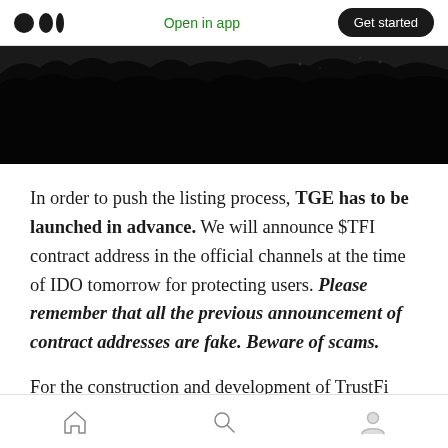Open in app | Get started
[Figure (photo): Dark night-sky or landscape silhouette image, predominantly black with faint grass/tree outlines at top]
In order to push the listing process, TGE has to be launched in advance. We will announce $TFI contract address in the official channels at the time of IDO tomorrow for protecting users. Please remember that all the previous announcement of contract addresses are fake. Beware of scams.
For the construction and development of TrustFi
Home | Search | Profile